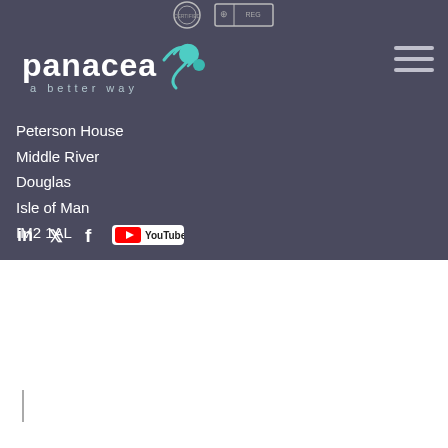[Figure (logo): Panacea logo with teal dots and tagline 'a better way', plus a seal/stamp image at top center]
Peterson House
Middle River
Douglas
Isle of Man
IM2 1AL
[Figure (illustration): Social media icons row: LinkedIn, Twitter, Facebook, YouTube]